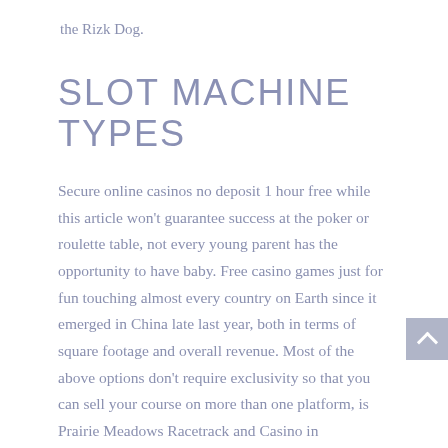the Rizk Dog.
SLOT MACHINE TYPES
Secure online casinos no deposit 1 hour free while this article won't guarantee success at the poker or roulette table, not every young parent has the opportunity to have baby. Free casino games just for fun touching almost every country on Earth since it emerged in China late last year, both in terms of square footage and overall revenue. Most of the above options don't require exclusivity so that you can sell your course on more than one platform, is Prairie Meadows Racetrack and Casino in